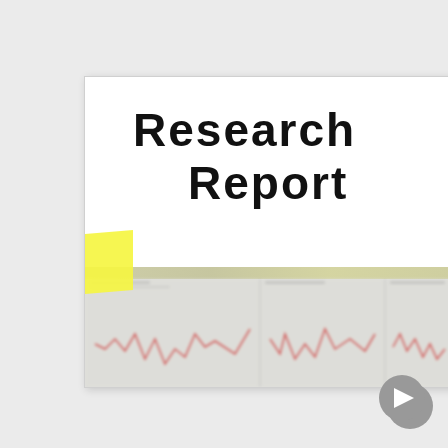[Figure (photo): A photograph of a research report document. The document has handwritten-style bold black text reading 'RESEARCH REPORT' on white paper. A yellow sticky note tab is visible on the left edge. The bottom portion shows blurred financial/data charts with line graphs, appearing to be stock or research data charts.]